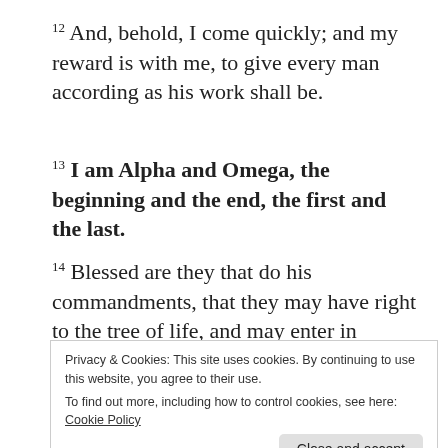12 And, behold, I come quickly; and my reward is with me, to give every man according as his work shall be.
13 I am Alpha and Omega, the beginning and the end, the first and the last.
14 Blessed are they that do his commandments, that they may have right to the tree of life, and may enter in through the gates into the city.
15 For without are dogs, and sorcerers, and
Privacy & Cookies: This site uses cookies. By continuing to use this website, you agree to their use.
To find out more, including how to control cookies, see here: Cookie Policy
16 I Jesus have sent mine angel to testify unto